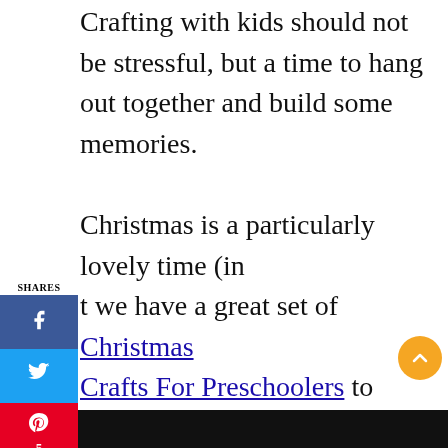Crafting with kids should not be stressful, but a time to hang out together and build some memories.

Christmas is a particularly lovely time (in[SHARES bar]t we have a great set of Christmas Crafts For Preschoolers to check out), today we share some crafts with you for all to enjoy together! Do check out our Christmas Gifts for Kids to Make for inspiration of homemade gifts!